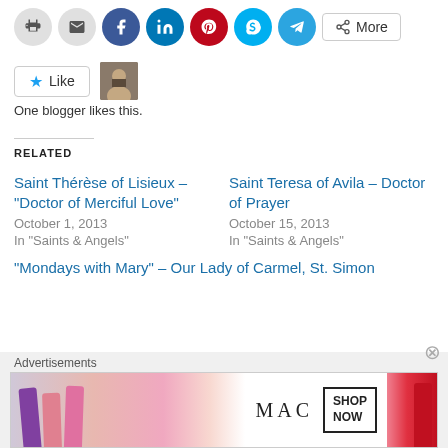[Figure (screenshot): Social share buttons: print, email, Facebook, LinkedIn, Pinterest, Skype, Telegram, More]
[Figure (screenshot): Like button with star icon and blogger avatar photo]
One blogger likes this.
RELATED
Saint Thérèse of Lisieux – "Doctor of Merciful Love"
October 1, 2013
In "Saints & Angels"
Saint Teresa of Avila – Doctor of Prayer
October 15, 2013
In "Saints & Angels"
"Mondays with Mary" – Our Lady of Carmel, St. Simon
Advertisements
[Figure (screenshot): MAC cosmetics advertisement banner with lipsticks and SHOP NOW button]